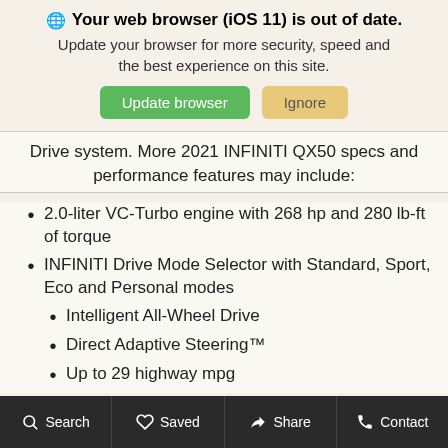🌐 Your web browser (iOS 11) is out of date. Update your browser for more security, speed and the best experience on this site.
Update browser | Ignore
Drive system. More 2021 INFINITI QX50 specs and performance features may include:
2.0-liter VC-Turbo engine with 268 hp and 280 lb-ft of torque
INFINITI Drive Mode Selector with Standard, Sport, Eco and Personal modes
Intelligent All-Wheel Drive
Direct Adaptive Steering™
Up to 29 highway mpg
Search  Saved  Share  Contact